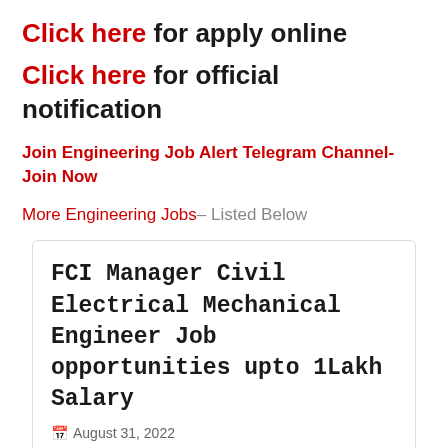Click here for apply online
Click here for official notification
Join Engineering Job Alert Telegram Channel- Join Now
More Engineering Jobs– Listed Below
FCI Manager Civil Electrical Mechanical Engineer Job opportunities upto 1Lakh Salary
August 31, 2022